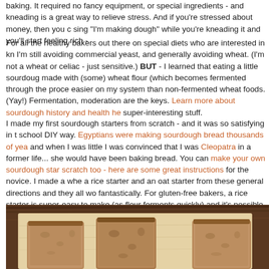baking. It required no fancy equipment, or special ingredients - and kneading is a great way to relieve stress. And if you're stressed about money, then you can sing "I'm making dough" while you're kneading it and you'll start feeling rich -
For all the healthy bakers out there on special diets who are interested in kn... I'm still avoiding commercial yeast, and generally avoiding wheat. (I'm not al... wheat or celiac - just sensitive.) BUT - I learned that eating a little sourdough made with (some) wheat flour (which becomes fermented through the proce... easier on my system than non-fermented wheat foods. (Yay!) Fermentation, moderation are the keys. Learn more about sourdough history and health he... super-interesting stuff.
I made my first sourdough starters from scratch - and it was so satisfying in t... school DIY way. Egyptians were making sourdough bread thousands of yea... and when I was little I was convinced that I was Cleopatra in a former life... she would have been baking bread. You can make your own sourdough star... scratch too - here are some great instructions for the novice. I made a whe... a rice starter and an oat starter from these general directions and they all wo... fantastically. For gluten-free bakers, a rice starter is super-easy to make (as flour ferments quickly) and it's possible to make some tasty gf sourdough br... share the recipe I recently came up with when I have a chance. Here's the fi... rice/oat loaf I made - it was dense like pumpernickel and delicious:
[Figure (photo): Photo of sliced sourdough bread loaf on a wooden cutting board, showing dense brown bread slices similar to pumpernickel]